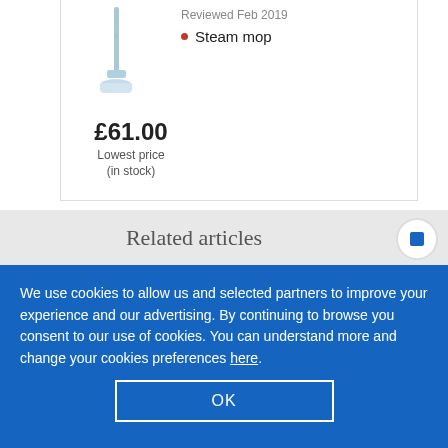Reviewed Feb 2019
Steam mop
£61.00
Lowest price (in stock)
Related articles
We use cookies to allow us and selected partners to improve your experience and our advertising. By continuing to browse you consent to our use of cookies. You can understand more and change your cookies preferences here.
OK